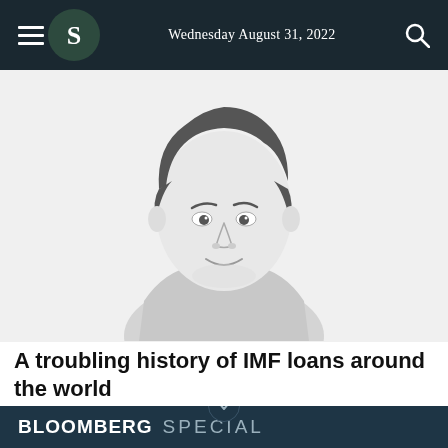Wednesday August 31, 2022
[Figure (illustration): Grayscale illustrated portrait of a young man with curly dark hair wearing a crew-neck t-shirt, smiling slightly, pencil sketch style on light gray background.]
A troubling history of IMF loans around the world
16h | Thoughts
BLOOMBERG SPECIAL